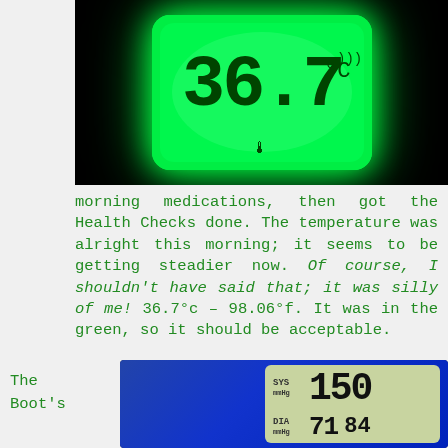[Figure (photo): Digital thermometer displaying 36.7°C on glowing green screen against black background]
morning medications, then got the Health Checks done. The temperature was alright this morning; it seems to be getting steadier now. Of course, I shouldn't have said that; it was silly of me! 36.7°c – 98.06°f. It was in the green, so it should be acceptable.
The Boot's
[Figure (photo): Blood pressure monitor showing SYS 150 mmHg and DIA 84 mmHg readings on digital display]